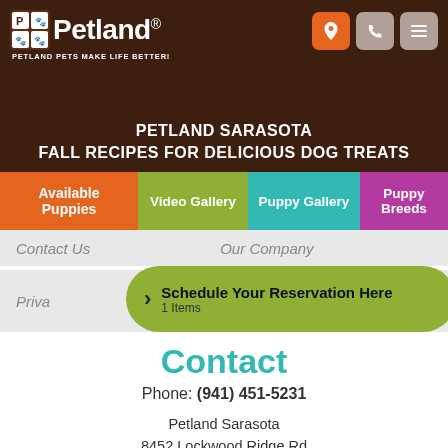Petland — PETLAND PETS MAKE LIFE BETTER!
PETLAND SARASOTA
FALL RECIPES FOR DELICIOUS DOG TREATS
Available Puppies
Video Gallery
Puppy Gallery
Puppy Breeds
Contact Us
Our Company
Privacy
Schedule Your Reservation Here
1 Items
Contact
Phone: (941) 451-5231
Petland Sarasota
8452 Lockwood Ridge Rd
Sarasota, Florida 34243